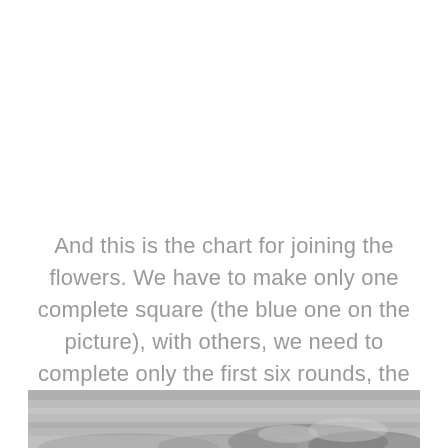And this is the chart for joining the flowers. We have to make only one complete square (the blue one on the picture), with others, we need to complete only the first six rounds, the last round we will make and in the same time join our flowers. So, let's start!
[Figure (photo): Partial photograph visible at the bottom of the page, showing what appears to be a crocheted or knitted item, in greyscale.]